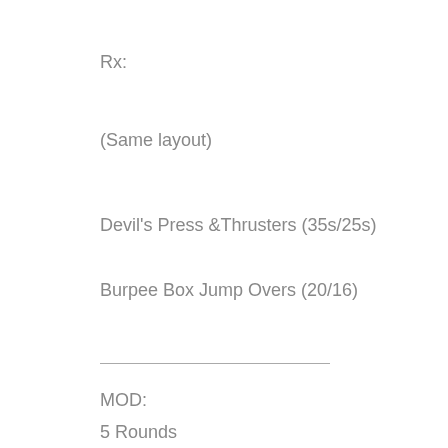Rx:
(Same layout)
Devil's Press &Thrusters (35s/25s)
Burpee Box Jump Overs (20/16)
MOD:
5 Rounds